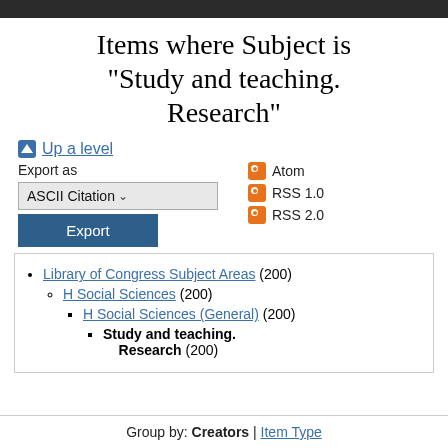Items where Subject is "Study and teaching. Research"
Up a level
Export as
ASCII Citation
Export
Atom
RSS 1.0
RSS 2.0
Library of Congress Subject Areas (200)
H Social Sciences (200)
H Social Sciences (General) (200)
Study and teaching. Research (200)
Group by: Creators | Item Type